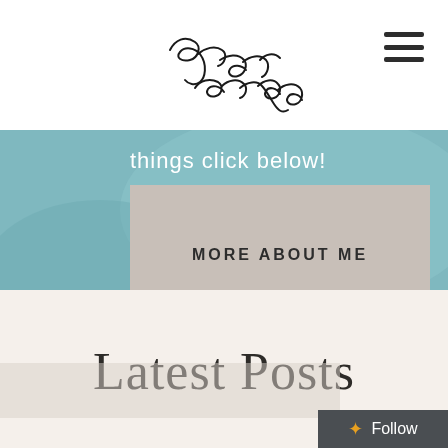Sasha Eadon (signature logo)
[Figure (logo): Cursive handwritten signature logo reading 'Sasha Eadon']
[Figure (illustration): Hamburger menu icon (three horizontal lines)]
things click below!
MORE ABOUT ME
Latest Posts
[Figure (photo): Partial blog post thumbnail images at bottom of page]
Follow